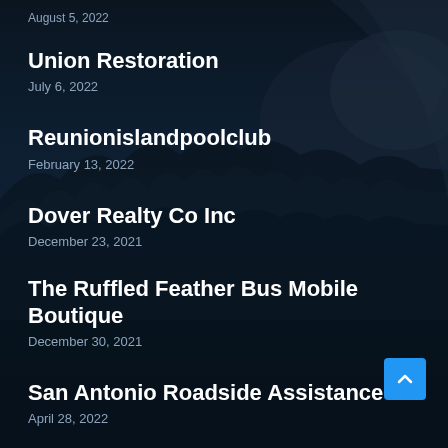August 5, 2022
Union Restoration
July 6, 2022
Reunionislandpoolclub
February 13, 2022
Dover Realty Co Inc
December 23, 2021
The Ruffled Feather Bus Mobile Boutique
December 30, 2021
San Antonio Roadside Assistance
April 28, 2022